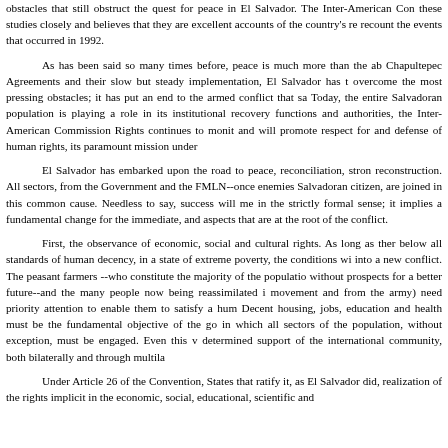obstacles that still obstruct the quest for peace in El Salvador. The Inter-American Com these studies closely and believes that they are excellent accounts of the country's re recount the events that occurred in 1992.
As has been said so many times before, peace is much more than the ab Chapultepec Agreements and their slow but steady implementation, El Salvador has t overcome the most pressing obstacles; it has put an end to the armed conflict that sa Today, the entire Salvadoran population is playing a role in its institutional recovery functions and authorities, the Inter-American Commission Rights continues to monit and will promote respect for and defense of human rights, its paramount mission under
El Salvador has embarked upon the road to peace, reconciliation, stron reconstruction. All sectors, from the Government and the FMLN--once enemies Salvadoran citizen, are joined in this common cause. Needless to say, success will m in the strictly formal sense; it implies a fundamental change for the immediate, and aspects that are at the root of the conflict.
First, the observance of economic, social and cultural rights. As long as ther below all standards of human decency, in a state of extreme poverty, the conditions w into a new conflict. The peasant farmers --who constitute the majority of the populatio without prospects for a better future--and the many people now being reassimilated i movement and from the army) need priority attention to enable them to satisfy a hum Decent housing, jobs, education and health must be the fundamental objective of the g in which all sectors of the population, without exception, must be engaged. Even this v determined support of the international community, both bilaterally and through multila
Under Article 26 of the Convention, States that ratify it, as El Salvador did, realization of the rights implicit in the economic, social, educational, scientific and